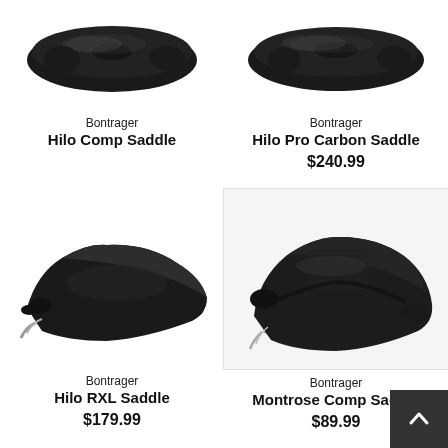[Figure (photo): Partial top view of Bontrager Hilo Comp Saddle, black bicycle saddle, cropped at top]
Bontrager
Hilo Comp Saddle
[Figure (photo): Partial top view of Bontrager Hilo Pro Carbon Saddle, black bicycle saddle, cropped at top]
Bontrager
Hilo Pro Carbon Saddle
$240.99
[Figure (photo): Bontrager Hilo RXL Saddle, black leather bicycle saddle with silver rails, side/3-quarter view]
Bontrager
Hilo RXL Saddle
$179.99
[Figure (photo): Bontrager Montrose Comp Saddle, black carbon-texture bicycle saddle, side/3-quarter view, shown in light grey box]
Bontrager
Montrose Comp Saddle
$89.99